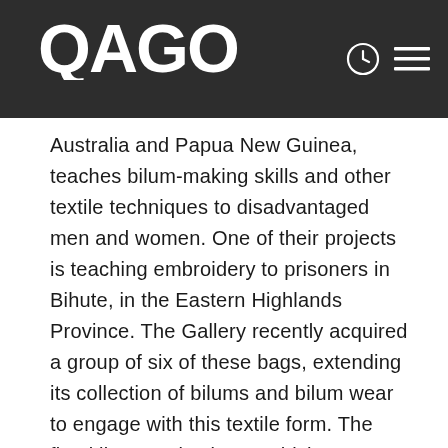QAGOMA
Australia and Papua New Guinea, teaches bilum-making skills and other textile techniques to disadvantaged men and women. One of their projects is teaching embroidery to prisoners in Bihute, in the Eastern Highlands Province. The Gallery recently acquired a group of six of these bags, extending its collection of bilums and bilum wear to engage with this textile form. The five-kilogram rice bags, which are decorated with stitched designs, feature images of loved ones and slogans expressing the makers' dreams of freedom. Often decorated in the same bright colours as traditional bilums, they would have been worn, like bilum, as a fashionable accessory and to carry personal belongings.